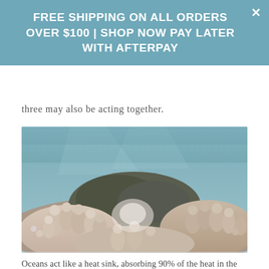FREE SHIPPING ON ALL ORDERS OVER $100 | SHOP NOW PAY LATER WITH AFTERPAY
three may also be acting together.
[Figure (photo): Underwater photograph of bleached coral reef showing pale, whitened coral formations with some darker algae-covered areas above, taken near the water surface with light filtering through.]
Oceans act like a heat sink, absorbing 90% of the heat in the atmosphere. This makes marine environments highly susceptible to climate change.